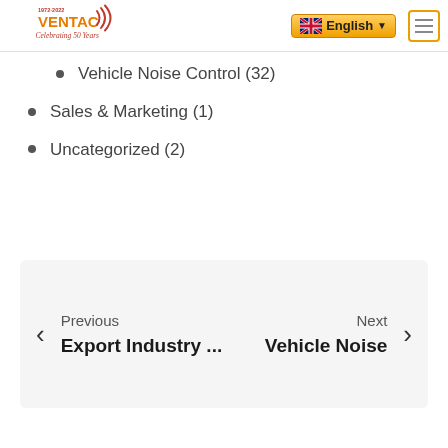[Figure (logo): Ventac logo with text '1972-2022 VENTAC Celebrating 50 Years' and sound wave graphic]
Vehicle Noise Control (32)
Sales & Marketing (1)
Uncategorized (2)
Previous / Export Industry ... | Next / Vehicle Noise